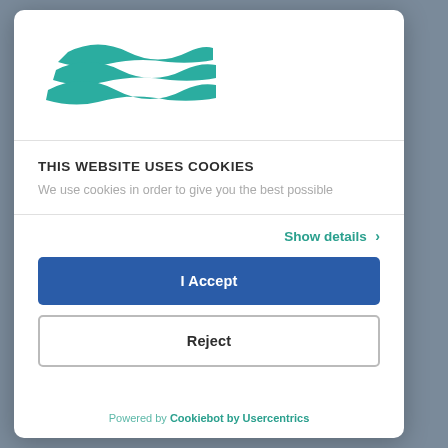[Figure (logo): Teal wave logo with three horizontal wave stripes]
THIS WEBSITE USES COOKIES
We use cookies in order to give you the best possible
Show details >
I Accept
Reject
Powered by Cookiebot by Usercentrics